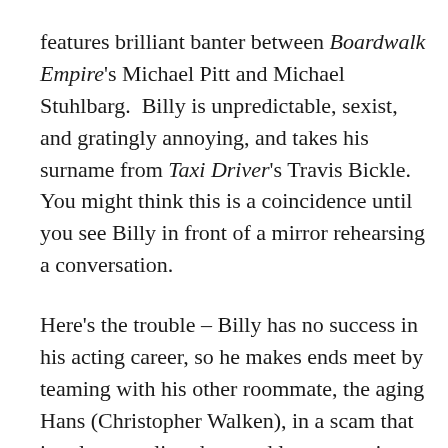features brilliant banter between Boardwalk Empire's Michael Pitt and Michael Stuhlbarg.  Billy is unpredictable, sexist, and gratingly annoying, and takes his surname from Taxi Driver's Travis Bickle.  You might think this is a coincidence until you see Billy in front of a mirror rehearsing a conversation.
Here's the trouble – Billy has no success in his acting career, so he makes ends meet by teaming with his other roommate, the aging Hans (Christopher Walken), in a scam that involves stealing dogs and later returning them to their owners in order to collect the reward money. Hans' wife, hospitalized with cancer, does not approve, but Hans, a steadfast pacifist, believes he's doing the right this as long as he gives the money to her.  The duo, of course, steal the one dog they should not steal: a Shih Tzu belonging to the most psycho of the film's psychopaths.